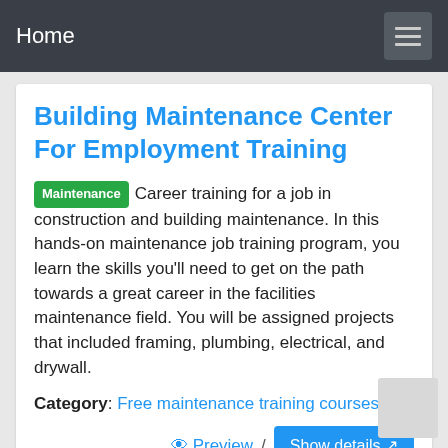Home
Building Maintenance Center For Employment Training
Maintenance  Career training for a job in construction and building maintenance. In this hands-on maintenance job training program, you learn the skills you'll need to get on the path towards a great career in the facilities maintenance field. You will be assigned projects that included framing, plumbing, electrical, and drywall.
Category: Free maintenance training courses
Preview / Show details